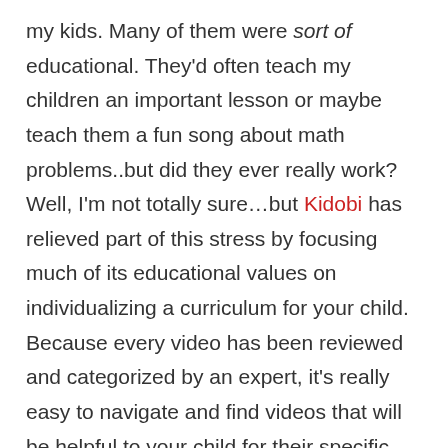my kids. Many of them were sort of educational. They'd often teach my children an important lesson or maybe teach them a fun song about math problems..but did they ever really work? Well, I'm not totally sure...but Kidobi has relieved part of this stress by focusing much of its educational values on individualizing a curriculum for your child. Because every video has been reviewed and categorized by an expert, it's really easy to navigate and find videos that will be helpful to your child for their specific age and need.
And finally...the best part of it..your kids will love it because many of the videos will be so familiar. They have a bunch of Sesame Street segments as well as other educational cartoon characters like Florrie's Dragon. Not to mention they also have videos in spanish! Maybe your children (like mine)